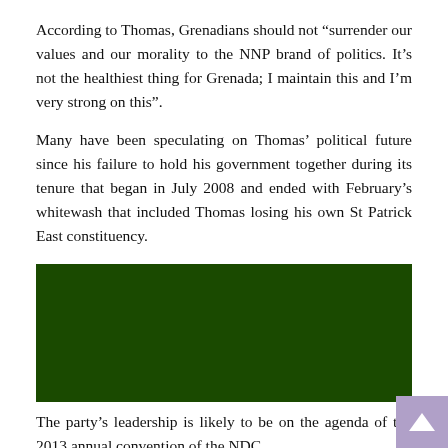According to Thomas, Grenadians should not “surrender our values and our morality to the NNP brand of politics. It’s not the healthiest thing for Grenada; I maintain this and I’m very strong on this”.
Many have been speculating on Thomas’ political future since his failure to hold his government together during its tenure that began in July 2008 and ended with February’s whitewash that included Thomas losing his own St Patrick East constituency.
[Figure (photo): A dark green rectangular banner/image placeholder]
The party’s leadership is likely to be on the agenda of the 2013 annual convention of the NDC.
Last year’s convention was held September 30 when 10 senior members, including then general secretary Peter David and acting chairman Stanford Simon, were expelled from the party.